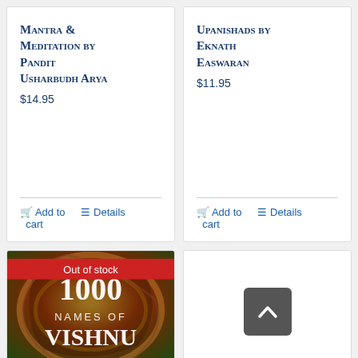Mantra & Meditation by Pandit Usharbudh Arya
$14.95
Add to cart | Details
Upanishads by Eknath Easwaran
$11.95
Add to cart | Details
[Figure (photo): Book cover for '1000 Names of Vishnu' with colorful abstract artwork background and red 'Out of stock' banner at top]
[Figure (other): Scroll-to-top button: dark gray rounded rectangle with white upward chevron arrow]